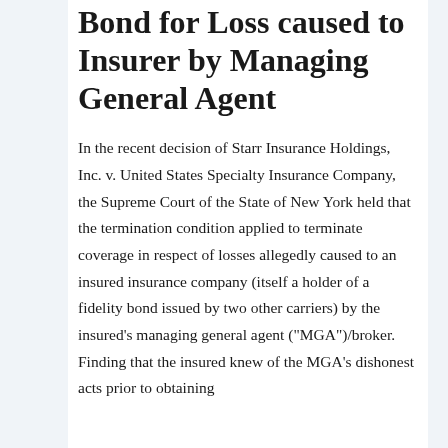Bond for Loss caused to Insurer by Managing General Agent
In the recent decision of Starr Insurance Holdings, Inc. v. United States Specialty Insurance Company, the Supreme Court of the State of New York held that the termination condition applied to terminate coverage in respect of losses allegedly caused to an insured insurance company (itself a holder of a fidelity bond issued by two other carriers) by the insured's managing general agent ("MGA")/broker.  Finding that the insured knew of the MGA's dishonest acts prior to obtaining